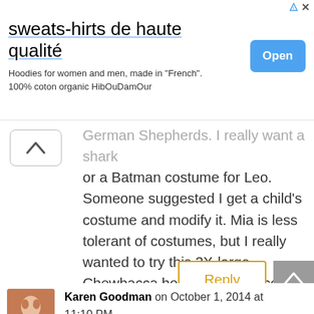[Figure (screenshot): Advertisement banner for sweats-shirts de haute qualite with Open button]
German Shepherds. I really want a shark or a Batman costume for Leo. Someone suggested I get a child's costume and modify it. Mia is less tolerant of costumes, but I really wanted to try this 3X-large Chewbacca hoodie from Petco. However, the reviews made me think it probably wouldn't be big enough.
Reply
Karen Goodman on October 1, 2014 at 11:10 PM